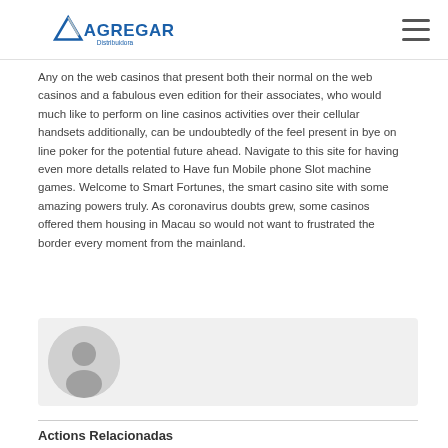AGREGAR Distribuidora
Any on the web casinos that present both their normal on the web casinos and a fabulous even edition for their associates, who would much like to perform on line casinos activities over their cellular handsets additionally, can be undoubtedly of the feel present in bye on line poker for the potential future ahead. Navigate to this site for having even more detalls related to Have fun Mobile phone Slot machine games. Welcome to Smart Fortunes, the smart casino site with some amazing powers truly. As coronavirus doubts grew, some casinos offered them housing in Macau so would not want to frustrated the border every moment from the mainland.
[Figure (illustration): Avatar placeholder showing a generic user silhouette icon in a circular grey frame]
Actions Relacionadas